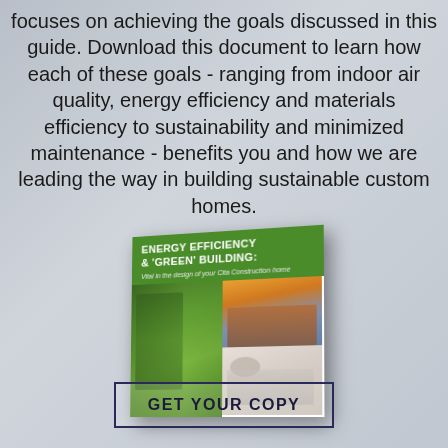focuses on achieving the goals discussed in this guide. Download this document to learn how each of these goals - ranging from indoor air quality, energy efficiency and materials efficiency to sustainability and minimized maintenance - benefits you and how we are leading the way in building sustainable custom homes.
[Figure (illustration): Book cover for 'Energy Efficiency & Green Building: Vital in the design of your Cita Construction home' showing photos of forest, house exterior at dusk, and covered patio with ceiling fan]
GET YOUR COPY